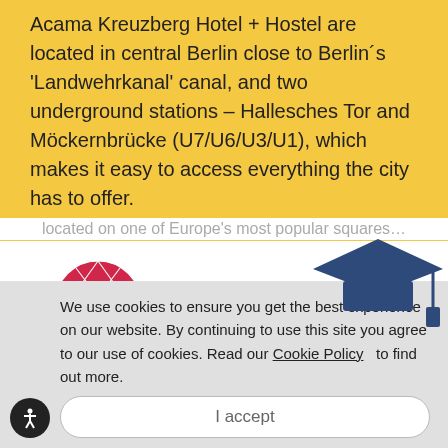Acama Kreuzberg Hotel + Hostel are located in central Berlin close to Berlin´s 'Landwehrkanal' canal, and two underground stations – Hallesches Tor and Möckernbrücke (U7/U6/U3/U1), which makes it easy to access everything the city has to offer.
[Figure (logo): H4Hotels logo with a red geometric diamond/globe icon on the left and bold text 'H4Hotels' on the right]
We use cookies to ensure you get the best experience on our website. By continuing to use this site you agree to our use of cookies. Read our Cookie Policy to find out more.
I accept